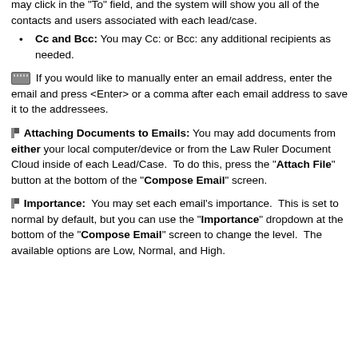You may address the email to any recipients. You may click in the "To" field, and the system will show you all of the contacts and users associated with each lead/case.
Cc and Bcc: You may Cc: or Bcc: any additional recipients as needed.
[keyboard icon] If you would like to manually enter an email address, enter the email and press <Enter> or a comma after each email address to save it to the addressees.
[flag] Attaching Documents to Emails: You may add documents from either your local computer/device or from the Law Ruler Document Cloud inside of each Lead/Case. To do this, press the "Attach File" button at the bottom of the "Compose Email" screen.
[flag] Importance: You may set each email's importance. This is set to normal by default, but you can use the "Importance" dropdown at the bottom of the "Compose Email" screen to change the level. The available options are Low, Normal, and High.